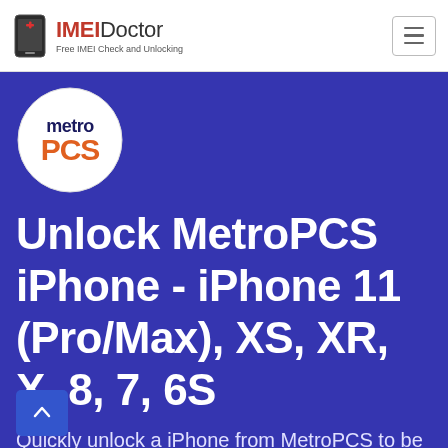IMEIDoctor Free IMEI Check and Unlocking
[Figure (logo): Metro PCS circular logo — white circle with 'metro' in dark blue and 'PCS' in orange text]
Unlock MetroPCS iPhone - iPhone 11 (Pro/Max), XS, XR, X, 8, 7, 6S
Quickly unlock a iPhone from MetroPCS to be